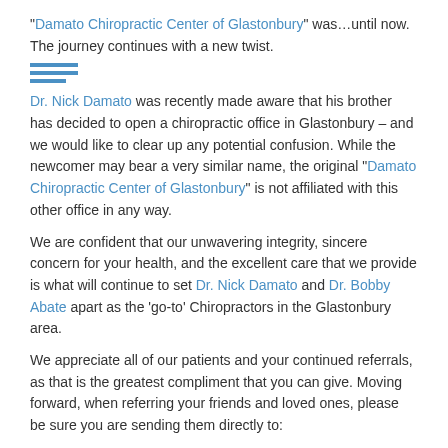“Damato Chiropractic Center of Glastonbury” was…until now. The journey continues with a new twist.
[Figure (other): Three horizontal blue divider lines/bars]
Dr. Nick Damato was recently made aware that his brother has decided to open a chiropractic office in Glastonbury – and we would like to clear up any potential confusion. While the newcomer may bear a very similar name, the original “Damato Chiropractic Center of Glastonbury” is not affiliated with this other office in any way.
We are confident that our unwavering integrity, sincere concern for your health, and the excellent care that we provide is what will continue to set Dr. Nick Damato and Dr. Bobby Abate apart as the ‘go-to’ Chiropractors in the Glastonbury area.
We appreciate all of our patients and your continued referrals, as that is the greatest compliment that you can give. Moving forward, when referring your friends and loved ones, please be sure you are sending them directly to:
Dr. Nick Damato  & Dr. Bobby Abate
Damato Chiropractic Center OF
GLASTONBURY